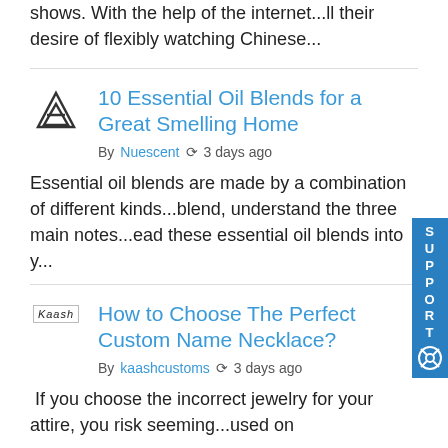shows. With the help of the internet...ll their desire of flexibly watching Chinese...
10 Essential Oil Blends for a Great Smelling Home
By Nuescent  3 days ago
Essential oil blends are made by a combination of different kinds...blend, understand the three main notes...ead these essential oil blends into y...
How to Choose The Perfect Custom Name Necklace?
By kaashcustoms  3 days ago
If you choose the incorrect jewelry for your attire, you risk seeming...used on